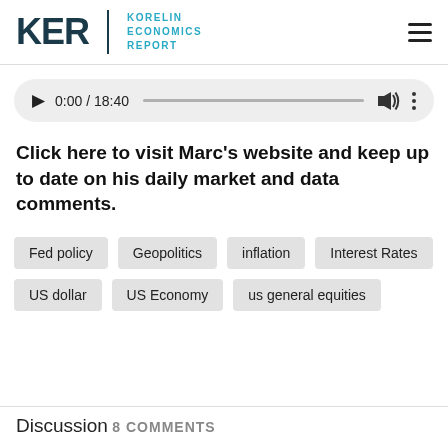KER | KORELIN ECONOMICS REPORT
[Figure (other): Audio player showing 0:00 / 18:40 with play button, progress bar, volume icon, and more options icon]
Click here to visit Marc's website and keep up to date on his daily market and data comments.
Fed policy
Geopolitics
inflation
Interest Rates
US dollar
US Economy
us general equities
Discussion 8 COMMENTS